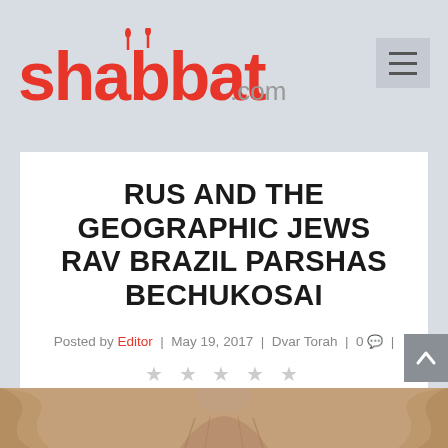shabbat.com
RUS AND THE GEOGRAPHIC JEWS RAV BRAZIL PARSHAS BECHUKOSAI
Posted by Editor | May 19, 2017 | Dvar Torah | 0 |
[Figure (illustration): Sepia-toned illustration of a figure in traditional Jewish religious garb, partially visible at the bottom of the page.]